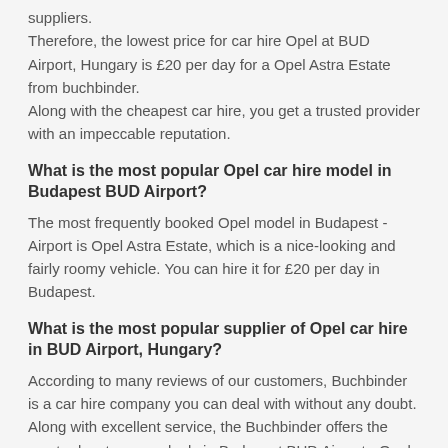suppliers.
Therefore, the lowest price for car hire Opel at BUD Airport, Hungary is £20 per day for a Opel Astra Estate from buchbinder.
Along with the cheapest car hire, you get a trusted provider with an impeccable reputation.
What is the most popular Opel car hire model in Budapest BUD Airport?
The most frequently booked Opel model in Budapest - Airport is Opel Astra Estate, which is a nice-looking and fairly roomy vehicle. You can hire it for £20 per day in Budapest.
What is the most popular supplier of Opel car hire in BUD Airport, Hungary?
According to many reviews of our customers, Buchbinder is a car hire company you can deal with without any doubt. Along with excellent service, the Buchbinder offers the most advantageous deals in Budapest BUD Airport - Opel Astra Estate for £20 for a day.